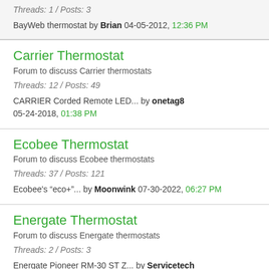Threads: 1 / Posts: 3
BayWeb thermostat by Brian 04-05-2012, 12:36 PM
Carrier Thermostat
Forum to discuss Carrier thermostats
Threads: 12 / Posts: 49
CARRIER Corded Remote LED... by onetag8 05-24-2018, 01:38 PM
Ecobee Thermostat
Forum to discuss Ecobee thermostats
Threads: 37 / Posts: 121
Ecobee's "eco+"... by Moonwink 07-30-2022, 06:27 PM
Energate Thermostat
Forum to discuss Energate thermostats
Threads: 2 / Posts: 3
Energate Pioneer RM-30 ST Z... by Servicetech 12-05-2013, 05:25 PM